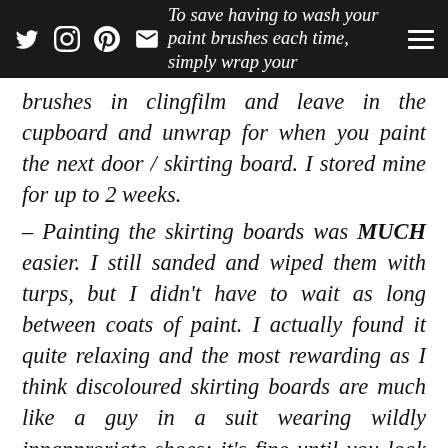To save having to wash your paint brushes each time, simply wrap your
brushes in clingfilm and leave in the cupboard and unwrap for when you paint the next door / skirting board. I stored mine for up to 2 weeks. – Painting the skirting boards was MUCH easier. I still sanded and wiped them with turps, but I didn't have to wait as long between coats of paint. I actually found it quite relaxing and the most rewarding as I think discoloured skirting boards are much like a guy in a suit wearing wildly innapproriate shoes; it's fine until you look all the way